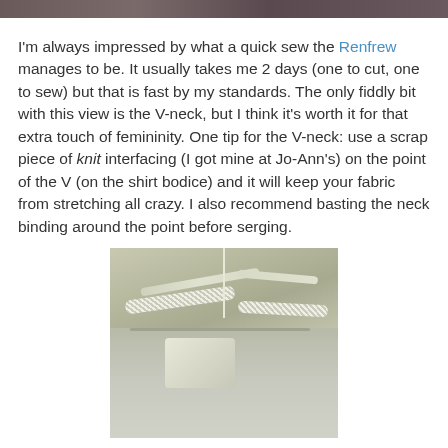[Figure (photo): Top portion of a photo (cropped), showing fabric or clothing detail at the top of the page]
I'm always impressed by what a quick sew the Renfrew manages to be. It usually takes me 2 days (one to cut, one to sew) but that is fast by my standards. The only fiddly bit with this view is the V-neck, but I think it's worth it for that extra touch of femininity. One tip for the V-neck: use a scrap piece of knit interfacing (I got mine at Jo-Ann's) on the point of the V (on the shirt bodice) and it will keep your fabric from stretching all crazy. I also recommend basting the neck binding around the point before serging.
[Figure (photo): Close-up photo of a sewn V-neck point on a light olive/grey knit fabric, showing the serged seam at the V-neck binding point]